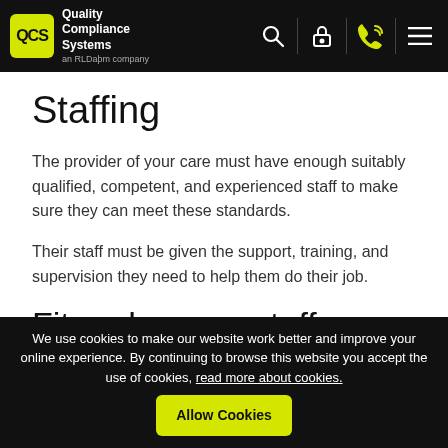QCS Quality Compliance Systems
Staffing
The provider of your care must have enough suitably qualified, competent, and experienced staff to make sure they can meet these standards.
Their staff must be given the support, training, and supervision they need to help them do their job.
Fit and proper staff
The provider of your care must only employ people who
We use cookies to make our website work better and improve your online experience. By continuing to browse this website you accept the use of cookies, read more about cookies. Allow Cookies